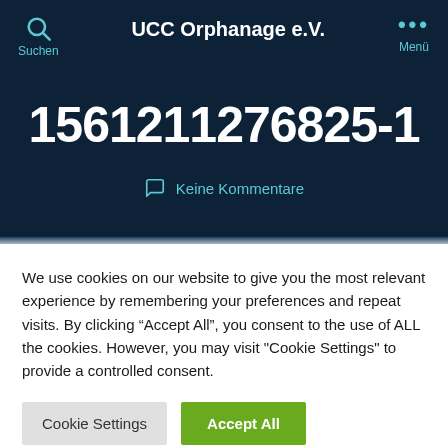UCC Orphanage e.V.
1561211276825-1
Keine Kommentare
We use cookies on our website to give you the most relevant experience by remembering your preferences and repeat visits. By clicking “Accept All”, you consent to the use of ALL the cookies. However, you may visit "Cookie Settings" to provide a controlled consent.
Cookie Settings | Accept All